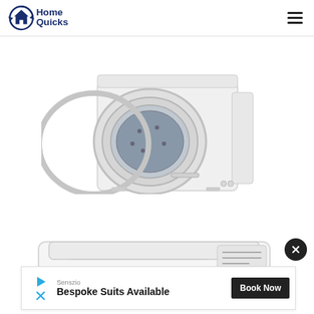HomeQuicks
[Figure (photo): Front-loading washing machine with open door, white, shown from an angle on white background]
[Figure (photo): Top-loading washing machine, white, partially visible at bottom of page]
[Figure (screenshot): Advertisement banner: Senszio — Bespoke Suits Available — Book Now button]